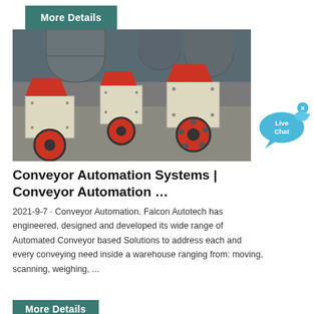More Details
[Figure (photo): Industrial hammer mill crushers with red wheels and cream-colored bodies arranged in a factory yard, with large cylindrical drums visible in the background.]
[Figure (other): Live Chat button widget - a teal speech bubble with 'Live Chat' text and a small fish icon, with an x close button.]
Conveyor Automation Systems | Conveyor Automation …
2021-9-7 · Conveyor Automation. Falcon Autotech has engineered, designed and developed its wide range of Automated Conveyor based Solutions to address each and every conveying need inside a warehouse ranging from: moving, scanning, weighing, ...
More Details